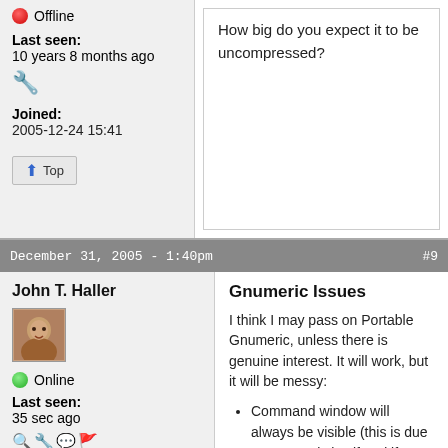Offline
Last seen: 10 years 8 months ago
Joined: 2005-12-24 15:41
How big do you expect it to be uncompressed?
Top
December 31, 2005 - 1:40pm   #9
John T. Haller
Online
Last seen: 35 sec ago
Joined: 2005-11-28 22:21
Gnumeric Issues
I think I may pass on Portable Gnumeric, unless there is genuine interest. It will work, but it will be messy:
Command window will always be visible (this is due to Gnumeric itself and if you close it, Gnumeric will close without asking you to save your work)
Registry keys will need to be backed